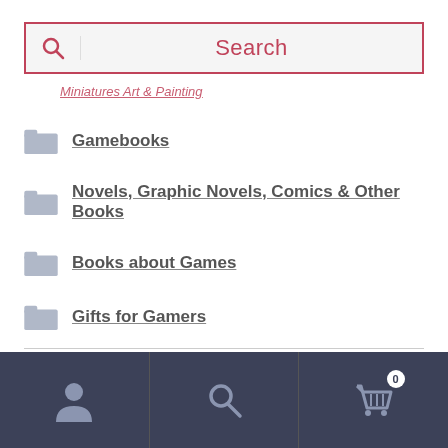[Figure (screenshot): Search bar with magnifying glass icon and 'Search' placeholder text, red border]
Miniatures Art & Painting (partial, link)
Gamebooks
Novels, Graphic Novels, Comics & Other Books
Books about Games
Gifts for Gamers
Science Fiction and Fantasy Art
Videogame RPGs and other RPG software
[Figure (screenshot): Bottom navigation bar with user icon, search icon, and cart icon with badge showing 0]